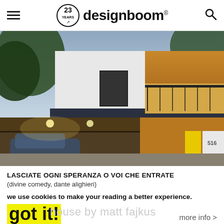designboom® — 23 YEARS
[Figure (photo): Modern two-story house with white stucco exterior, wood-paneled accents, black railings, a carport with vehicles, and a yellow front door. Trees visible in background at dusk/twilight.]
LASCIATE OGNI SPERANZA O VOI CHE ENTRATE
(divine comedy, dante alighieri)
we use cookies to make your reading a better experience.
got it!
more info >
house by matt fajkus